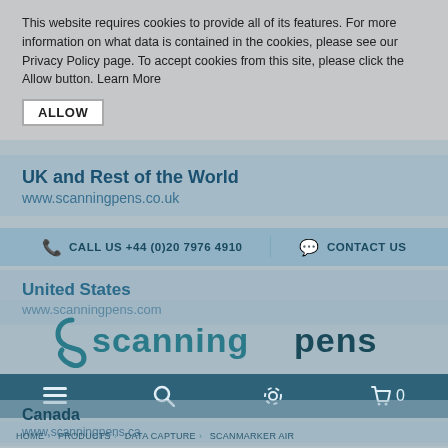This website requires cookies to provide all of its features. For more information on what data is contained in the cookies, please see our Privacy Policy page. To accept cookies from this site, please click the Allow button. Learn More
ALLOW
UK and Rest of the World
www.scanningpens.co.uk
CALL US +44 (0)20 7976 4910
CONTACT US
United States
www.scanningpens.com
[Figure (logo): Scanning Pens logo — stylized text 'scanningpens' in teal/dark teal with a stylized 's' mark]
Canada
www.scanningpens.ca
HOME > PRODUCTS > DATA CAPTURE > SCANMARKER AIR
Scanmarker Air
Australia
SUBSCRIBE TO OUR NEWSLETTER